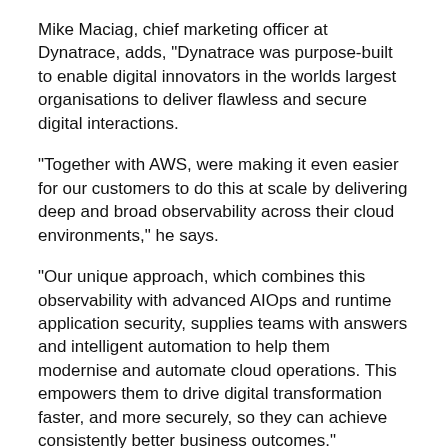Mike Maciag, chief marketing officer at Dynatrace, adds, "Dynatrace was purpose-built to enable digital innovators in the worlds largest organisations to deliver flawless and secure digital interactions.
"Together with AWS, were making it even easier for our customers to do this at scale by delivering deep and broad observability across their cloud environments," he says.
"Our unique approach, which combines this observability with advanced AIOps and runtime application security, supplies teams with answers and intelligent automation to help them modernise and automate cloud operations. This empowers them to drive digital transformation faster, and more securely, so they can achieve consistently better business outcomes."
RELATED STORIES